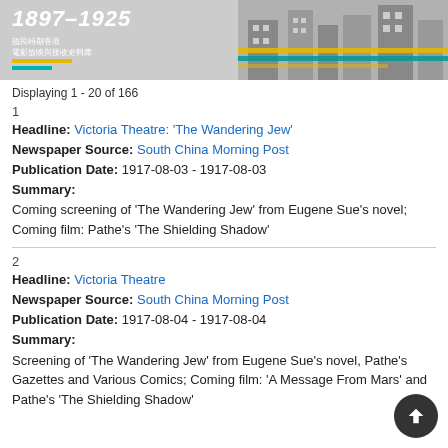[Figure (illustration): Header banner image showing '1897-1925' in large text with Chinese characters below, colored bars (yellow and teal), and a black-and-white historical photo of a street scene on the right side.]
Displaying 1 - 20 of 166
1
Headline: Victoria Theatre: 'The Wandering Jew'
Newspaper Source: South China Morning Post
Publication Date: 1917-08-03 - 1917-08-03
Summary:
Coming screening of 'The Wandering Jew' from Eugene Sue's novel; Coming film: Pathe's 'The Shielding Shadow'
2
Headline: Victoria Theatre
Newspaper Source: South China Morning Post
Publication Date: 1917-08-04 - 1917-08-04
Summary:
Screening of 'The Wandering Jew' from Eugene Sue's novel, Pathe's Gazettes and Various Comics; Coming film: 'A Message From Mars' and Pathe's 'The Shielding Shadow'